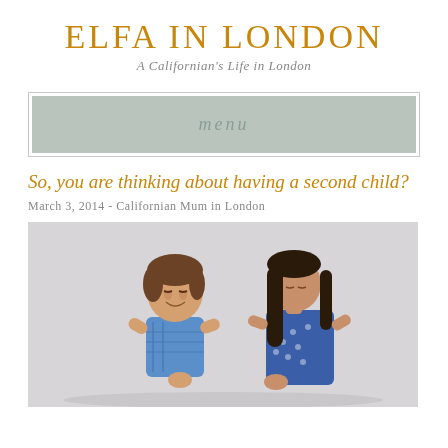ELFA IN LONDON
A Californian's Life in London
menu
So, you are thinking about having a second child?
March 3, 2014 - Californian Mum in London
[Figure (photo): Two young children — a boy and a girl — looking downward together against a light grey background. The boy is on the left wearing a blue patterned shirt and the girl is on the right with long dark hair wearing a blue floral dress.]